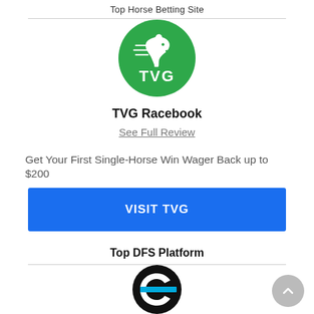Top Horse Betting Site
[Figure (logo): TVG Racebook circular green logo with a horse silhouette and white TVG text]
TVG Racebook
See Full Review
Get Your First Single-Horse Win Wager Back up to $200
VISIT TVG
Top DFS Platform
[Figure (logo): Black circular DFS platform logo with stylized C and blue stripe]